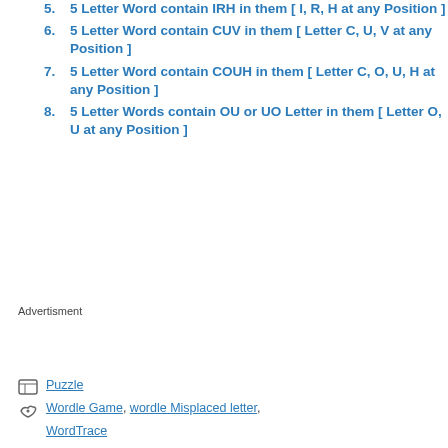5 Letter Word contain IRH in them [ I, R, H at any Position ]
5 Letter Word contain CUV in them [ Letter C, U, V at any Position ]
5 Letter Word contain COUH in them [ Letter C, O, U, H at any Position ]
5 Letter Words contain OU or UO Letter in them [ Letter O, U at any Position ]
Advertisment
Puzzle
Wordle Game, wordle Misplaced letter,
WordTrace